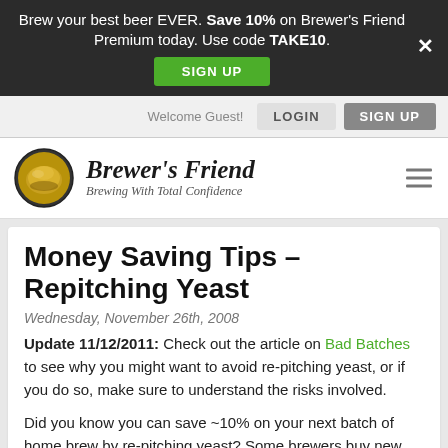Brew your best beer EVER. Save 10% on Brewer's Friend Premium today. Use code TAKE10. SIGN UP
Welcome Guest! LOGIN  SIGN UP
[Figure (logo): Brewer's Friend logo with circular beer-themed emblem and text 'Brewer's Friend — Brewing With Total Confidence']
Money Saving Tips – Repitching Yeast
Wednesday, November 26th, 2008
Update 11/12/2011: Check out the article on Bad Batches to see why you might want to avoid re-pitching yeast, or if you do so, make sure to understand the risks involved.
Did you know you can save ~10% on your next batch of home brew by re-pitching yeast? Some brewers buy new yeast for each batch. That's one way to go, but